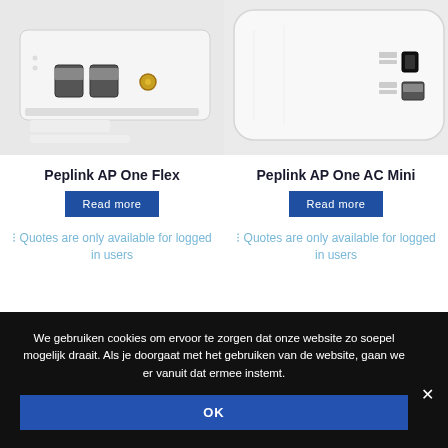[Figure (photo): Photo of Peplink AP One Flex networking device showing ports and connectors from below]
[Figure (photo): Photo of Peplink AP One AC Mini white compact networking device showing back ports]
Peplink AP One Flex
Peplink AP One AC Mini
Read more
Read more
Quotes are only available for logged in users
Quotes are only available for logged in users
We gebruiken cookies om ervoor te zorgen dat onze website zo soepel mogelijk draait. Als je doorgaat met het gebruiken van de website, gaan we er vanuit dat ermee instemt.
OK